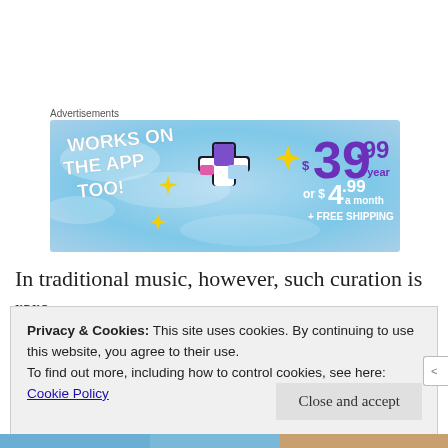Advertisements
[Figure (illustration): Advertisement banner with light blue sky background. Text on left reads 'WORKS ON THE APP TOO!' in bold white italic letters. Center shows a stylized plus/cross icon in purple, pink, and white with yellow sparkle stars. Right side shows pricing: $39.99 a year or $4.99 a month + FREE SHIPPING in purple and white text.]
In traditional music, however, such curation is rare,
because smaller festivals are under resourced and the
Privacy & Cookies: This site uses cookies. By continuing to use this website, you agree to their use.
To find out more, including how to control cookies, see here: Cookie Policy
Close and accept